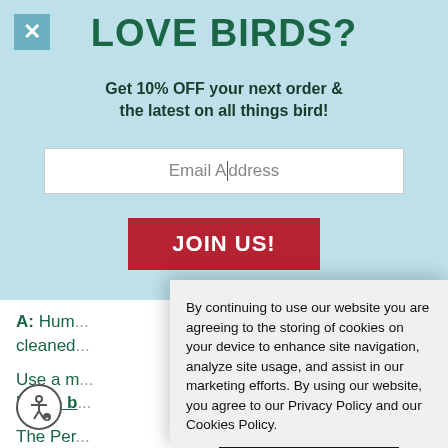LOVE BIRDS?
Get 10% OFF your next order & the latest on all things bird!
Email Address
JOIN US!
A: Hum... cleaned...
Use a m... bottle b...
The Per... designe... eni...
By continuing to use our website you are agreeing to the storing of cookies on your device to enhance site navigation, analyze site usage, and assist in our marketing efforts. By using our website, you agree to our Privacy Policy and our Cookies Policy.
I agree